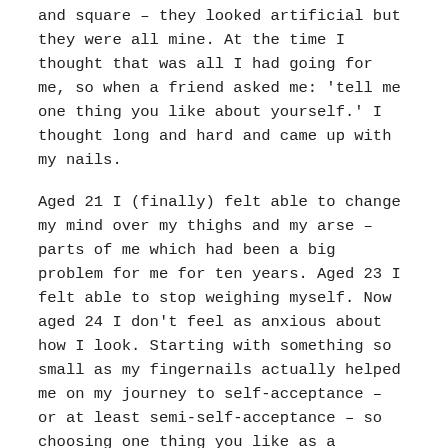and square – they looked artificial but they were all mine. At the time I thought that was all I had going for me, so when a friend asked me: 'tell me one thing you like about yourself.' I thought long and hard and came up with my nails.
Aged 21 I (finally) felt able to change my mind over my thighs and my arse – parts of me which had been a big problem for me for ten years. Aged 23 I felt able to stop weighing myself. Now aged 24 I don't feel as anxious about how I look. Starting with something so small as my fingernails actually helped me on my journey to self-acceptance – or at least semi-self-acceptance – so choosing one thing you like as a starting point can be really valuable.